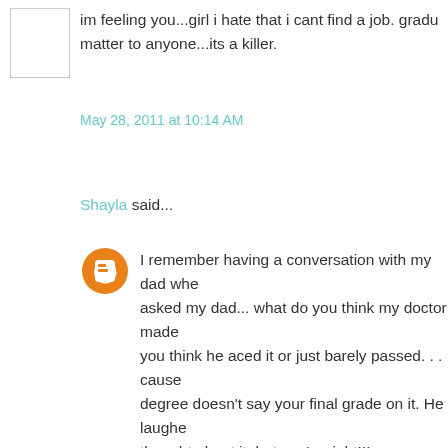im feeling you...girl i hate that i cant find a job. gradu matter to anyone...its a killer.
May 28, 2011 at 10:14 AM
Shayla said...
I remember having a conversation with my dad whe asked my dad... what do you think my doctor made you think he aced it or just barely passed. . . cause degree doesn't say your final grade on it. He laughe thought about it, but you're right!!!
I personally am DYING to finish college (less than a myself not to get too caught up in being perfect beca my students won't notice :)
I can relate to your fear, here in Texas there are tea